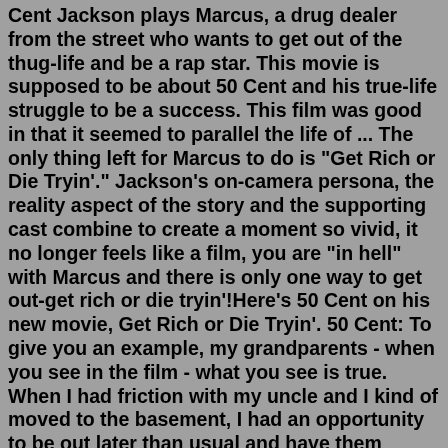Cent Jackson plays Marcus, a drug dealer from the street who wants to get out of the thug-life and be a rap star. This movie is supposed to be about 50 Cent and his true-life struggle to be a success. This film was good in that it seemed to parallel the life of ... The only thing left for Marcus to do is "Get Rich or Die Tryin'." Jackson's on-camera persona, the reality aspect of the story and the supporting cast combine to create a moment so vivid, it no longer feels like a film, you are "in hell" with Marcus and there is only one way to get out-get rich or die tryin'!Here's 50 Cent on his new movie, Get Rich or Die Tryin'. 50 Cent: To give you an example, my grandparents - when you see in the film - what you see is true. When I had friction with my uncle and I kind of moved to the basement, I had an opportunity to be out later than usual and have them not...The movie reveals the true life of Curtis ‘50 cent’ Jackson, and all he had to go through in order to get to where he is now in his career. It shows his own real life experiences and how he had to overcome all the disbelievers and critics in